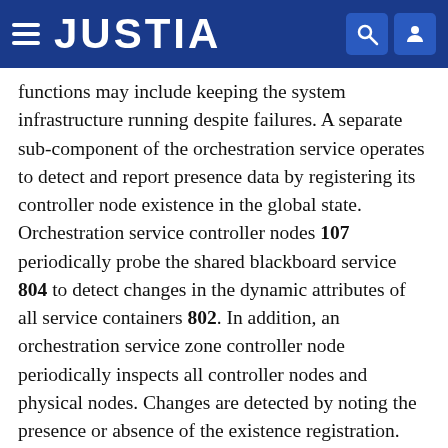JUSTIA
functions may include keeping the system infrastructure running despite failures. A separate sub-component of the orchestration service operates to detect and report presence data by registering its controller node existence in the global state. Orchestration service controller nodes 107 periodically probe the shared blackboard service 804 to detect changes in the dynamic attributes of all service containers 802. In addition, an orchestration service zone controller node periodically inspects all controller nodes and physical nodes. Changes are detected by noting the presence or absence of the existence registration. When changes are detected, controller node 107 updates status information for the affected records in the shared blackboard service 804. If a problem occurs, action is taken appropriate to the affected service, such as restarting a service or electing a new master.